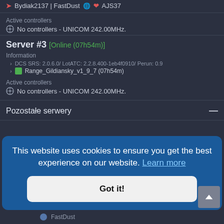Bydiak2137 | FastDust 🌐 ❤ AJS37
Active controllers
No controllers - UNICOM 242.00MHz.
Server #3 [Online (07h54m)]
Information
DCS SRS: 2.0.6.0/ LotATC: 2.2.8.400-1eb4f0910/ Perun: 0.9
Range_Gildiansky_v1_9_7 (07h54m)
Active controllers
No controllers - UNICOM 242.00MHz.
Pozostałe serwery
This website uses cookies to ensure you get the best experience on our website. Learn more
Got it!
FastDust